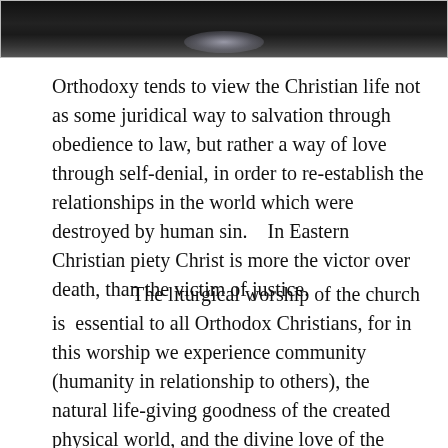[Figure (photo): Dark photograph partially visible at the top of the page, showing a dim scene with a glowing highlight in the center]
Orthodoxy tends to view the Christian life not as some juridical way to salvation through obedience to law, but rather a way of love through self-denial, in order to re-establish the relationships in the world which were destroyed by human sin.   In Eastern Christian piety Christ is more the victor over death, than the victim of justice.
The liturgical worship of the church is  essential to all Orthodox Christians, for in this worship we experience community (humanity in relationship to others), the natural life-giving goodness of the created physical world, and the divine love of the Persons of the Holy Trinity.   In this worship we experience ourselves